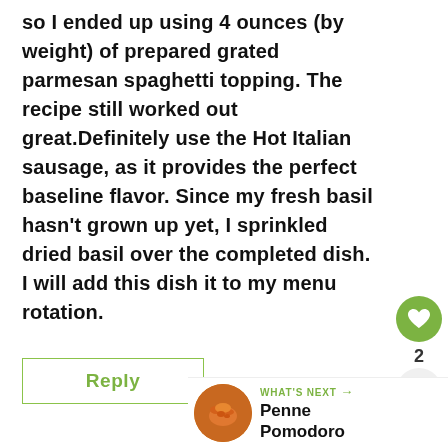so I ended up using 4 ounces (by weight) of prepared grated parmesan spaghetti topping. The recipe still worked out great.Definitely use the Hot Italian sausage, as it provides the perfect baseline flavor. Since my fresh basil hasn't grown up yet, I sprinkled dried basil over the completed dish. I will add this dish it to my menu rotation.
Reply
[Figure (other): Heart/like button (green circle with heart icon) with count of 2]
[Figure (other): Share button (light grey circle with share icon)]
[Figure (other): WHAT'S NEXT section with pasta dish thumbnail image and text Penne Pomodoro]